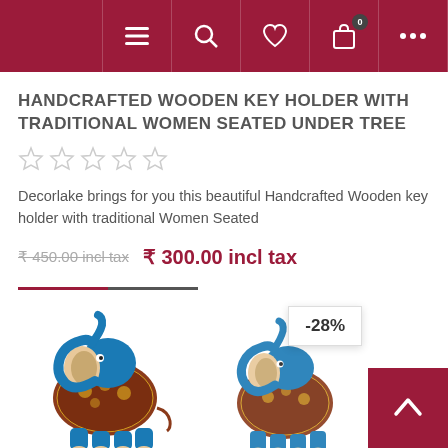Navigation header with menu, search, wishlist, cart, and more icons
HANDCRAFTED WOODEN KEY HOLDER WITH TRADITIONAL WOMEN SEATED UNDER TREE
★★★★★ (empty star rating)
Decorlake brings for you this beautiful Handcrafted Wooden key holder with traditional Women Seated
₹ 450.00 incl tax  ₹ 300.00 incl tax
[Figure (screenshot): Add to cart button (red) and wishlist button (grey)]
[Figure (photo): Two decorative elephant figurines with blue painted trunks raised, at bottom of page]
-28%
[Figure (other): Back to top button (red arrow)]